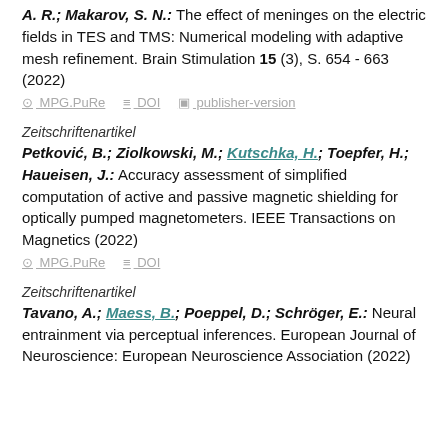A. R.; Makarov, S. N.: The effect of meninges on the electric fields in TES and TMS: Numerical modeling with adaptive mesh refinement. Brain Stimulation 15 (3), S. 654 - 663 (2022)
MPG.PuRe  DOI  publisher-version
Zeitschriftenartikel
Petković, B.; Ziolkowski, M.; Kutschka, H.; Toepfer, H.; Haueisen, J.: Accuracy assessment of simplified computation of active and passive magnetic shielding for optically pumped magnetometers. IEEE Transactions on Magnetics (2022)
MPG.PuRe  DOI
Zeitschriftenartikel
Tavano, A.; Maess, B.; Poeppel, D.; Schröger, E.: Neural entrainment via perceptual inferences. European Journal of Neuroscience: European Neuroscience Association (2022)